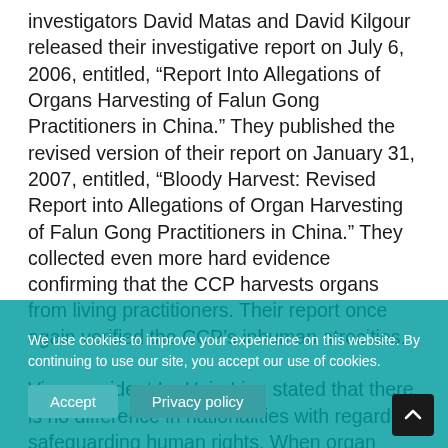investigators David Matas and David Kilgour released their investigative report on July 6, 2006, entitled, “Report Into Allegations of Organs Harvesting of Falun Gong Practitioners in China.” They published the revised version of their report on January 31, 2007, entitled, “Bloody Harvest: Revised Report into Allegations of Organ Harvesting of Falun Gong Practitioners in China.” They collected even more hard evidence confirming that the CCP harvests organs from living practitioners. Their report once again verified the CCP’s inhuman atrocities.

Vice-president Lu Hsiu-Lien stated that there is no difference in nationalities with regard to safeguarding human rights. When organ harvesting happens in China has really opened up the human rights issue. She hoped,
We use cookies to improve your experience on this website. By continuing to use our site, you accept our use of cookies.